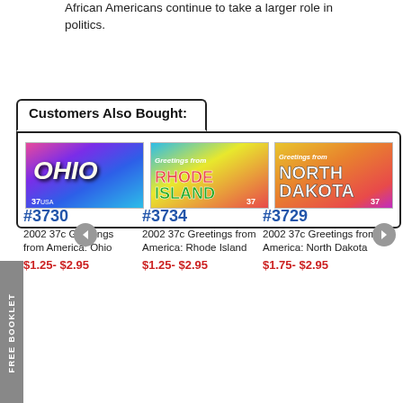African Americans continue to take a larger role in politics.
Customers Also Bought:
[Figure (photo): Stamp image: 2002 37c Greetings from America: Ohio (#3730)]
#3730
2002 37c Greetings from America: Ohio
$1.25- $2.95
[Figure (photo): Stamp image: 2002 37c Greetings from America: Rhode Island (#3734)]
#3734
2002 37c Greetings from America: Rhode Island
$1.25- $2.95
[Figure (photo): Stamp image: 2002 37c Greetings from America: North Dakota (#3729)]
#3729
2002 37c Greetings from America: North Dakota
$1.75- $2.95